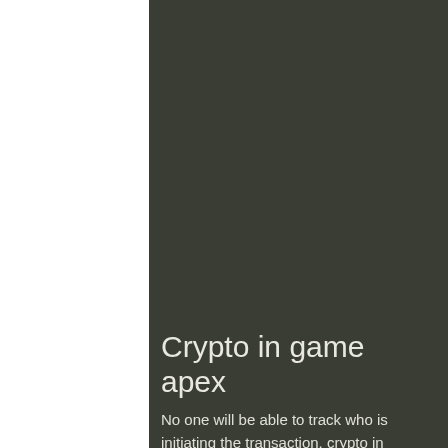Crypto in game apex
No one will be able to track who is initiating the transaction, crypto in game apex. The advent of innovative technologies has caused the diversity and high quality of gambling experience. In